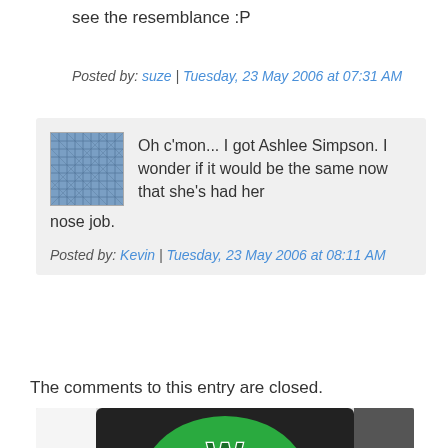see the resemblance :P
Posted by: suze | Tuesday, 23 May 2006 at 07:31 AM
Oh c'mon... I got Ashlee Simpson. I wonder if it would be the same now that she's had her nose job.
Posted by: Kevin | Tuesday, 23 May 2006 at 08:11 AM
The comments to this entry are closed.
[Figure (photo): Green baseball cap with a logo, shown on a dark background]